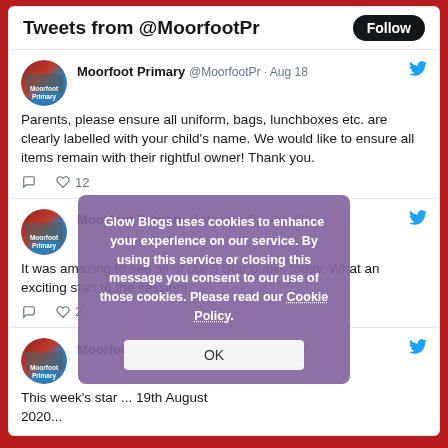Tweets from @MoorfootPr
Moorfoot Primary @MoorfootPr · Aug 18
Parents, please ensure all uniform, bags, lunchboxes etc. are clearly labelled with your child's name. We would like to ensure all items remain with their rightful owner! Thank you.
Moorfoot Primary @MoorfootPr · Aug 18
It was amazing to see all of our 5 Star pupils today. What an exciting start to the session!
Moorfoot Primary @MoorfootPr · Aug 17
This week's star ... 19th August 2020...
Glow Blogs uses cookies to enhance your experience on our service. By using this service or closing this message you consent to our use of those cookies. Please read our Cookie Policy.
OK